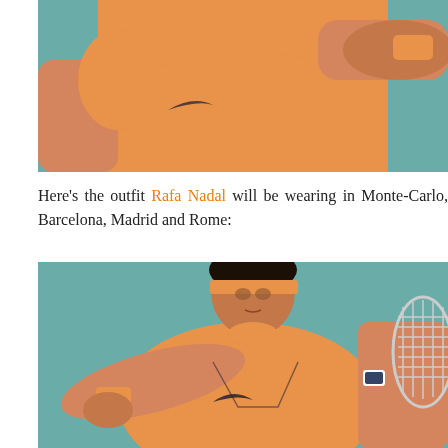[Figure (photo): Top-cropped photo of Rafa Nadal in an orange Nike tennis outfit against a teal background, showing torso and arm holding racket.]
Here's the outfit Rafa Nadal will be wearing in Monte-Carlo, Barcelona, Madrid and Rome:
[Figure (photo): Full photo of Rafa Nadal in orange Nike tennis outfit with orange headband, holding a tennis racket, against a teal background.]